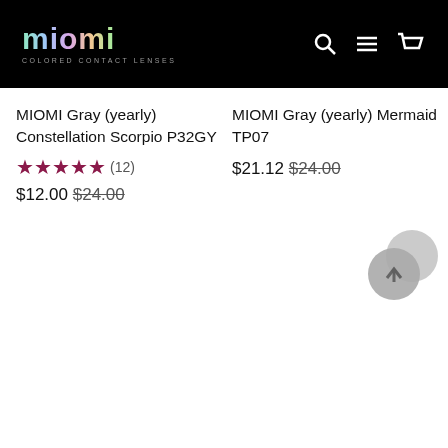[Figure (logo): MIOMI Colored Contact Lenses logo with holographic gradient text on black background, with search, menu, and cart icons]
MIOMI Gray (yearly) Constellation Scorpio P32GY
★★★★★ (12)
$12.00 $24.00
MIOMI Gray (yearly) Mermaid TP07
$21.12 $24.00